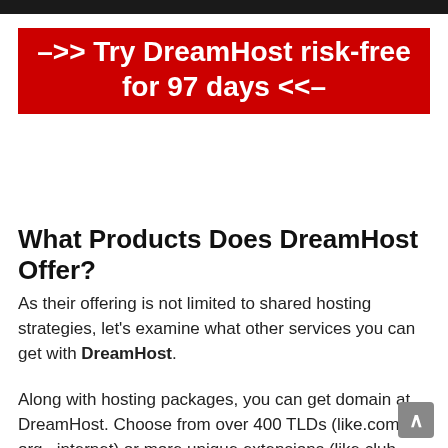–>> Try DreamHost risk-free for 97 days <<–
What Products Does DreamHost Offer?
As their offering is not limited to shared hosting strategies, let's examine what other services you can get with DreamHost.
Along with hosting packages, you can get domain at DreamHost. Choose from over 400 TLDs (like.com,. org,. internet) or more unique extensions (like.club or.guru). Country